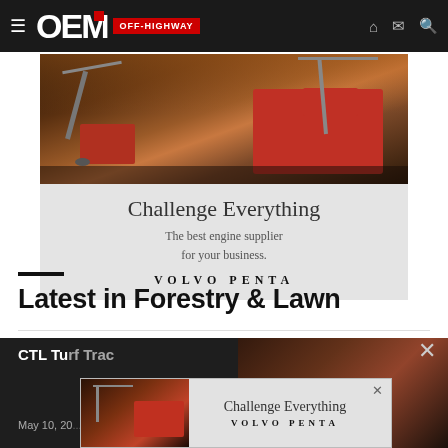OEM OFF-HIGHWAY
[Figure (photo): Volvo Penta advertisement showing red heavy equipment/machines at a port with cranes, headline Challenge Everything, The best engine supplier for your business. VOLVO PENTA]
Latest in Forestry & Lawn
CTL Turf Tracker
May 10, 20...
[Figure (photo): Volvo Penta overlay advertisement banner showing Challenge Everything / VOLVO PENTA with red machine image]